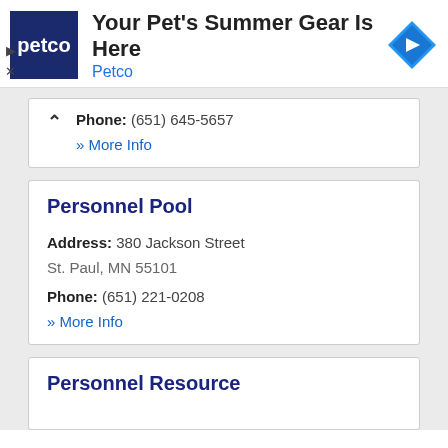[Figure (screenshot): Petco advertisement banner with logo, headline 'Your Pet's Summer Gear Is Here', subtext 'Petco', and a blue diamond navigation icon on the right.]
Phone: (651) 645-5657
» More Info
Personnel Pool
Address: 380 Jackson Street
St. Paul, MN 55101
Phone: (651) 221-0208
» More Info
Personnel Resource